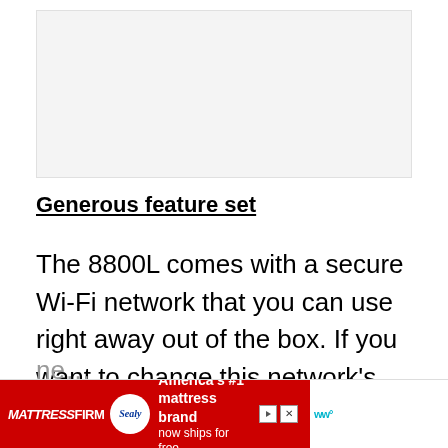[Figure (other): Blank/placeholder image area at top of page]
Generous feature set
The 8800L comes with a secure Wi-Fi network that you can use right away out of the box. If you want to change this network's name or password into something easier to remember, you'll ne…
[Figure (other): Advertisement banner: MattressFirm and Sealy — America's #1 mattress brand now ships for free.]